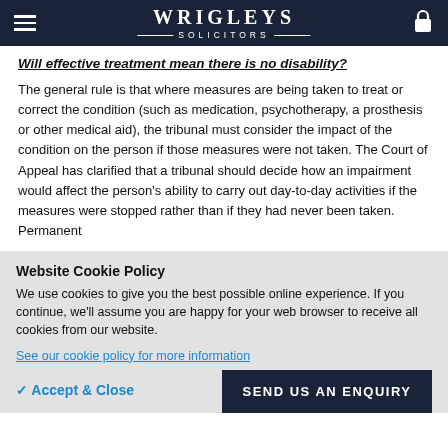WRIGLEYS — SOLICITORS
Will effective treatment mean there is no disability?
The general rule is that where measures are being taken to treat or correct the condition (such as medication, psychotherapy, a prosthesis or other medical aid), the tribunal must consider the impact of the condition on the person if those measures were not taken. The Court of Appeal has clarified that a tribunal should decide how an impairment would affect the person's ability to carry out day-to-day activities if the measures were stopped rather than if they had never been taken. Permanent
Website Cookie Policy
We use cookies to give you the best possible online experience. If you continue, we'll assume you are happy for your web browser to receive all cookies from our website.
See our cookie policy for more information
✓ Accept & Close
SEND US AN ENQUIRY